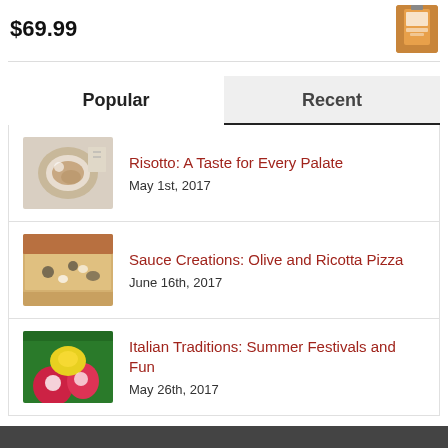$69.99
[Figure (photo): Product bottle image (sauce/condiment) with orange/brown label]
Popular | Recent (tab navigation)
[Figure (photo): Bowl of risotto with cream and toppings]
Risotto: A Taste for Every Palate
May 1st, 2017
[Figure (photo): Flatbread pizza with olive and ricotta toppings]
Sauce Creations: Olive and Ricotta Pizza
June 16th, 2017
[Figure (photo): Colorful Italian festival decorative image with flowers]
Italian Traditions: Summer Festivals and Fun
May 26th, 2017